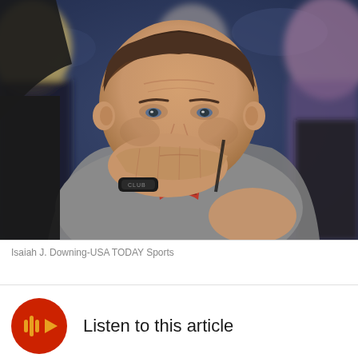[Figure (photo): A man sitting courtside at a sporting event, resting his chin on his hand in a thoughtful or concerned expression. He wears a grey sweater and red striped shirt. Other blurred figures visible in the background.]
Isaiah J. Downing-USA TODAY Sports
Listen to this article